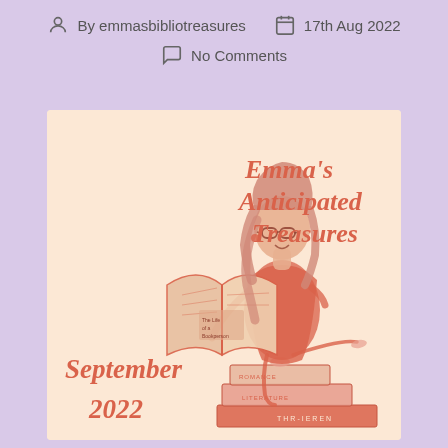By emmasbibliotreasures   17th Aug 2022   No Comments
[Figure (illustration): Illustration of a woman with glasses and long hair reading/holding an open book, standing on a stack of books. Text reads 'Emma's Anticipated Treasures' in the upper right and 'September 2022' in the lower left, on a peach/cream background.]